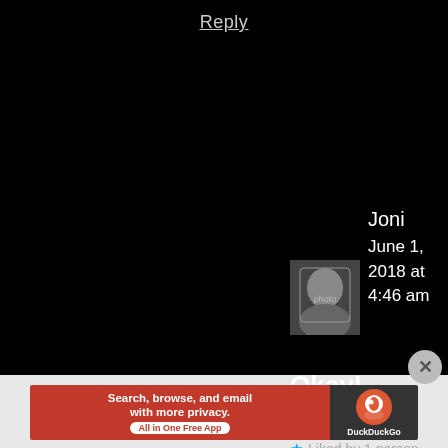Reply
Joni
June 1, 2018 at 4:46 am
[Figure (photo): Avatar photo of a woman wearing a black head covering, looking at camera]
Okay!
★ Liked by 1 person
[Figure (screenshot): DuckDuckGo advertisement banner: 'Search, browse, and email with more privacy. All in One Free App' with DuckDuckGo logo on dark right panel]